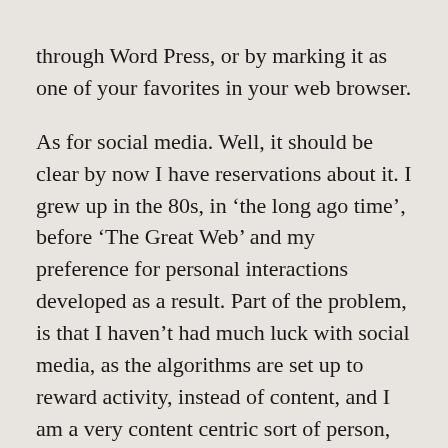through Word Press, or by marking it as one of your favorites in your web browser.
As for social media. Well, it should be clear by now I have reservations about it. I grew up in the 80s, in ‘the long ago time’, before ‘The Great Web’ and my preference for personal interactions developed as a result. Part of the problem, is that I haven’t had much luck with social media, as the algorithms are set up to reward activity, instead of content, and I am a very content centric sort of person, but tend not to post a lot. I have a Facebook page, but like this site, it’s a little dusty, and needs some brushing off, which I will do later today. I also intend to expand my social media presence; however, this site will remain my primary outlet for news, lore,